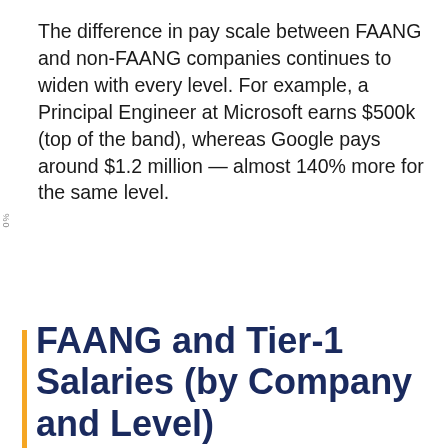The difference in pay scale between FAANG and non-FAANG companies continues to widen with every level. For example, a Principal Engineer at Microsoft earns $500k (top of the band), whereas Google pays around $1.2 million — almost 140% more for the same level.
FAANG and Tier-1 Salaries (by Company and Level)
We use cookies to enable the best possible experience on our site and to optimize the content for you. If you continue surfing you agree.  Learn more
Got it!